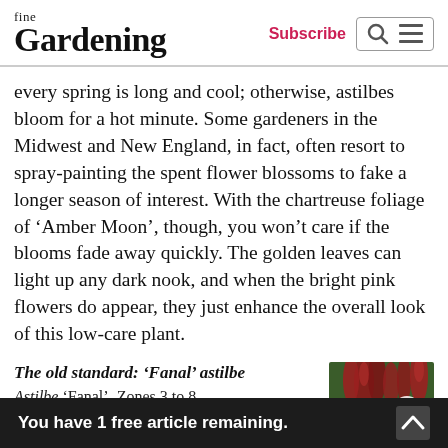fine Gardening | Subscribe
every spring is long and cool; otherwise, astilbes bloom for a hot minute. Some gardeners in the Midwest and New England, in fact, often resort to spray-painting the spent flower blossoms to fake a longer season of interest. With the chartreuse foliage of ‘Amber Moon’, though, you won’t care if the blooms fade away quickly. The golden leaves can light up any dark nook, and when the bright pink flowers do appear, they just enhance the overall look of this low-care plant.
The old standard: ‘Fanal’ astilbe
Astilbe ‘Fanal’, Zones 3 to 8
[Figure (photo): Thumbnail photo of red Fanal astilbe flowers with green foliage, partially visible on right side]
You have 1 free article remaining.